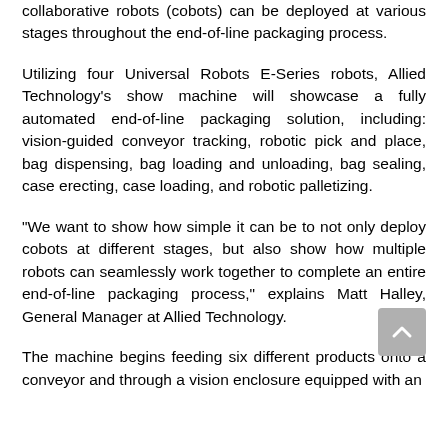collaborative robots (cobots) can be deployed at various stages throughout the end-of-line packaging process.
Utilizing four Universal Robots E-Series robots, Allied Technology’s show machine will showcase a fully automated end-of-line packaging solution, including: vision-guided conveyor tracking, robotic pick and place, bag dispensing, bag loading and unloading, bag sealing, case erecting, case loading, and robotic palletizing.
“We want to show how simple it can be to not only deploy cobots at different stages, but also show how multiple robots can seamlessly work together to complete an entire end-of-line packaging process,” explains Matt Halley, General Manager at Allied Technology.
The machine begins feeding six different products onto a conveyor and through a vision enclosure equipped with an